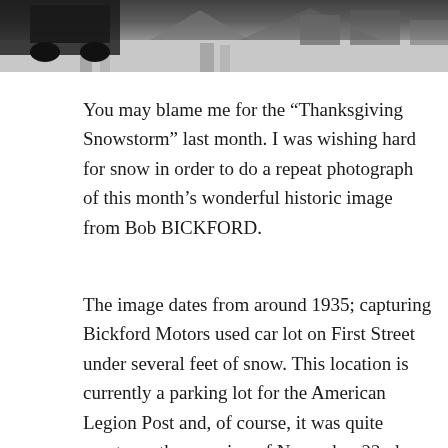[Figure (photo): Black and white photograph (partial, cropped at top) showing a snowy winter scene with a vehicle and snow-covered ground with tracks]
You may blame me for the “Thanksgiving Snowstorm” last month. I was wishing hard for snow in order to do a repeat photograph of this month’s wonderful historic image from Bob BICKFORD.
The image dates from around 1935; capturing Bickford Motors used car lot on First Street under several feet of snow. This location is currently a parking lot for the American Legion Post and, of course, it was quite empty on the morning of November 22nd, even with only a few inches of snow.
Lawrence Bickford and is partner Paul Reed moved their newly acquired Ford Dealership to the west